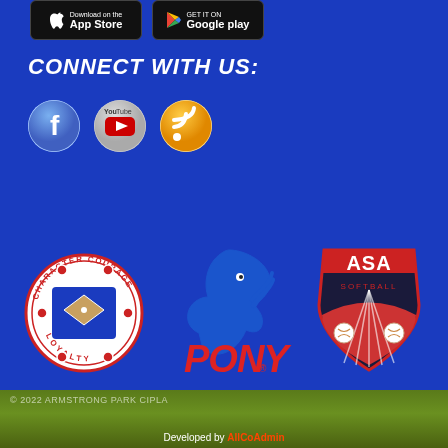[Figure (screenshot): App Store and Google Play download buttons]
CONNECT WITH US:
[Figure (illustration): Social media icons: Facebook, YouTube, RSS feed]
[Figure (logo): Three logos: Little League / Character Courage Loyalty baseball, PONY baseball, ASA Softball]
© 2022 ARMSTRONG PARK CIPLA
Developed by AllCoAdmin